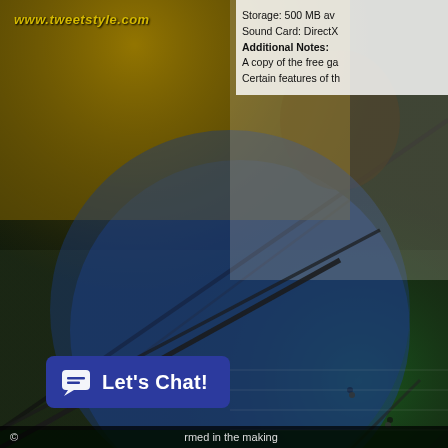[Figure (photo): Composite image: Brazilian flag overlaid with a soccer player celebrating, a stadium, camera crew on field, and spectators. Yellow, blue, and green tones dominate. Text 'ORDEM E PROGRESSO' visible on the flag.]
www.tweetstyle.com
Storage: 500 MB av
Sound Card: DirectX
Additional Notes:
A copy of the free ga
Certain features of th
[Figure (infographic): Blue button with speech bubble icon and text 'Let's Chat!']
© [...]  rmed in the making